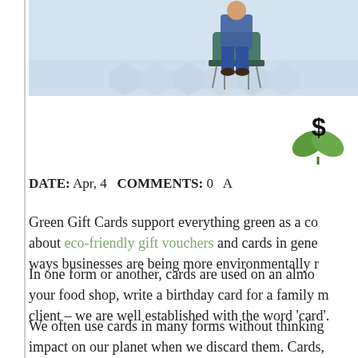[Figure (photo): Office interior photo showing a person sitting in a chair, light environment with a shiny floor and modern furniture.]
[Figure (illustration): Green plant leaves with a dollar sign symbol above them, representing eco-friendly finance or green gift cards.]
DATE: Apr, 4   COMMENTS: 0   A
Green Gift Cards support everything green as a co about eco-friendly gift vouchers and cards in gene ways businesses are being more environmentally r
In one form or another, cards are used on an almo your food shop, write a birthday card for a family m client – we are well established with the word 'card'.
We often use cards in many forms without thinking impact on our planet when we discard them. Cards, unfortunately, are often made from or coated in a t